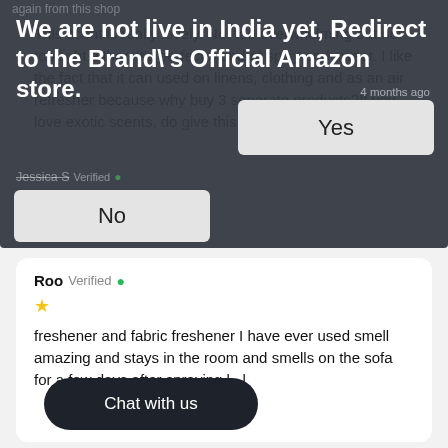[Figure (screenshot): A modal/dialog overlay on a dark background asking 'We are not live in India yet, Redirect to the Brand's Official Amazon store.' with Yes and No buttons. Behind it is faded text referencing 'again from this shop' and a user named Jessica S Verified with stars.]
This scent is really lovely. Not too overwhelming but not too light either. It's perfect blend of spicy and sweet. I like the fact that it can used on linens, clothing and as an air refresher because why buy 3 separate products?If you love exotic scents, do give this one a try!
1 year ago
Roo Verified
freshener and fabric freshener I have ever used smell amazing and stays in the room and smells on the sofa for a few days after spraying l . l
Chat with us